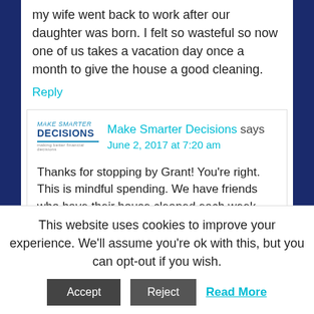my wife went back to work after our daughter was born. I felt so wasteful so now one of us takes a vacation day once a month to give the house a good cleaning.
Reply
Make Smarter Decisions says June 2, 2017 at 7:20 am
Thanks for stopping by Grant! You're right. This is mindful spending. We have friends who have their house cleaned each week
This website uses cookies to improve your experience. We'll assume you're ok with this, but you can opt-out if you wish.